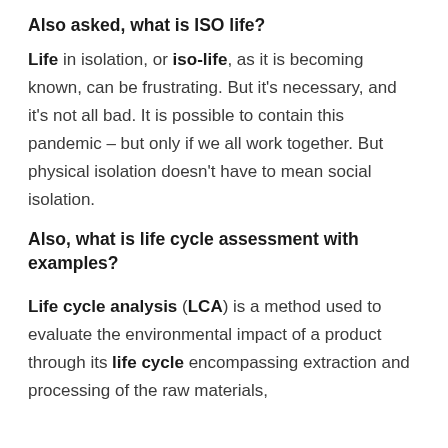Also asked, what is ISO life?
Life in isolation, or iso-life, as it is becoming known, can be frustrating. But it's necessary, and it's not all bad. It is possible to contain this pandemic – but only if we all work together. But physical isolation doesn't have to mean social isolation.
Also, what is life cycle assessment with examples?
Life cycle analysis (LCA) is a method used to evaluate the environmental impact of a product through its life cycle encompassing extraction and processing of the raw materials,